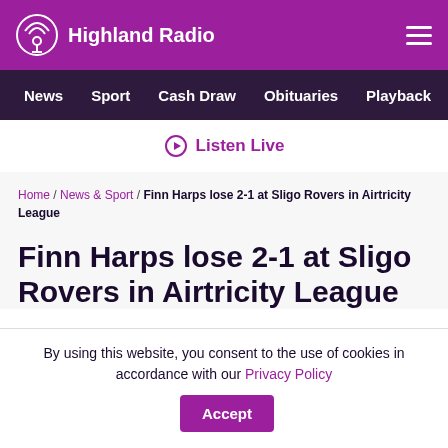Highland Radio
News / Sport / Cash Draw / Obituaries / Playback / S
Listen Live
Home / News & Sport / Finn Harps lose 2-1 at Sligo Rovers in Airtricity League
Finn Harps lose 2-1 at Sligo Rovers in Airtricity League
By using this website, you consent to the use of cookies in accordance with our Privacy Policy
Accept